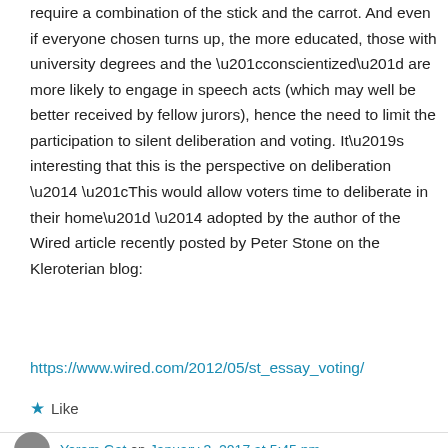require a combination of the stick and the carrot. And even if everyone chosen turns up, the more educated, those with university degrees and the “conscientized” are more likely to engage in speech acts (which may well be better received by fellow jurors), hence the need to limit the participation to silent deliberation and voting. It’s interesting that this is the perspective on deliberation — “This would allow voters time to deliberate in their home” — adopted by the author of the Wired article recently posted by Peter Stone on the Kleroterian blog:
https://www.wired.com/2012/05/st_essay_voting/
★ Like
Yoram Gat on January 3, 2017 at 5:45 pm